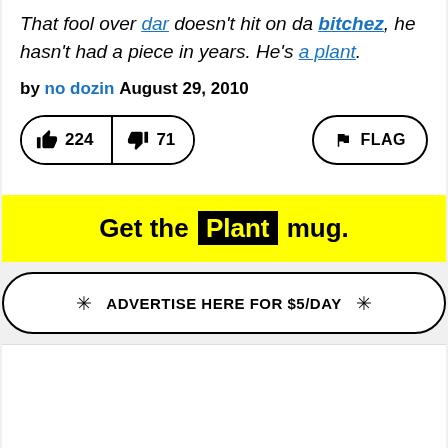That fool over dar doesn't hit on da bitchez, he hasn't had a piece in years. He's a plant.
by no dozin August 29, 2010
[Figure (other): Vote buttons showing thumbs up 224 and thumbs down 71, and a FLAG button]
Get the Plant mug.
ADVERTISE HERE FOR $5/DAY